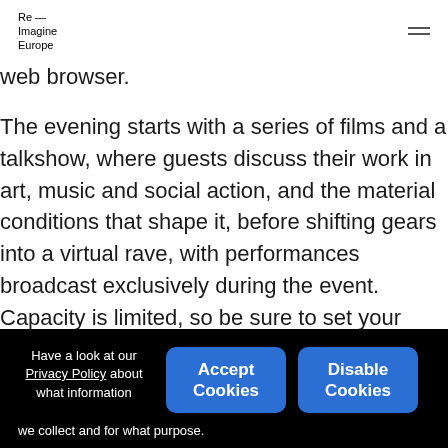Re—
Imagine
Europe
web browser.
The evening starts with a series of films and a talkshow, where guests discuss their work in art, music and social action, and the material conditions that shape it, before shifting gears into a virtual rave, with performances broadcast exclusively during the event. Capacity is limited, so be sure to set your alarm.
Programme
Have a look at our Privacy Policy about what information we collect and for what purpose.